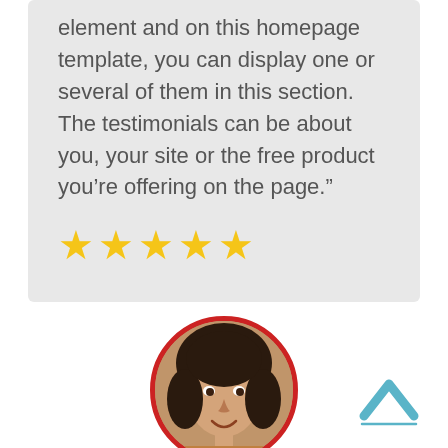element and on this homepage template, you can display one or several of them in this section. The testimonials can be about you, your site or the free product you’re offering on the page.”
[Figure (other): Five yellow star rating icons]
[Figure (photo): Circular portrait photo of a woman with short dark hair, smiling, with a red circular border]
[Figure (illustration): Blue chevron/caret up arrow icon in bottom right corner]